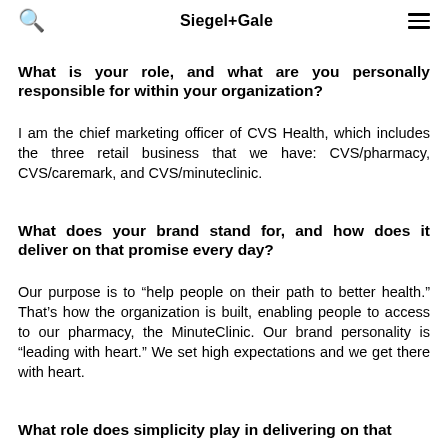Siegel+Gale
What is your role, and what are you personally responsible for within your organization?
I am the chief marketing officer of CVS Health, which includes the three retail business that we have: CVS/pharmacy, CVS/caremark, and CVS/minuteclinic.
What does your brand stand for, and how does it deliver on that promise every day?
Our purpose is to “help people on their path to better health.” That’s how the organization is built, enabling people to access to our pharmacy, the MinuteClinic. Our brand personality is “leading with heart.” We set high expectations and we get there with heart.
What role does simplicity play in delivering on that